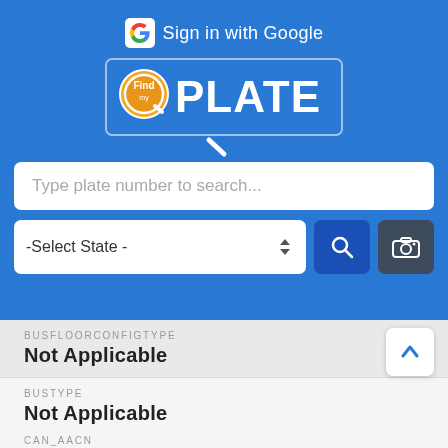[Figure (screenshot): Sign in with Google button at top of blue app header]
[Figure (logo): FindMyPlate app logo with orange circle magnifier icon and PLATE text in white on blue background]
Type plate number to search...
-Select State -
BUSFLOORCONFIGTYPE
Not Applicable
BUSTYPE
Not Applicable
CAN_AACN
Standard